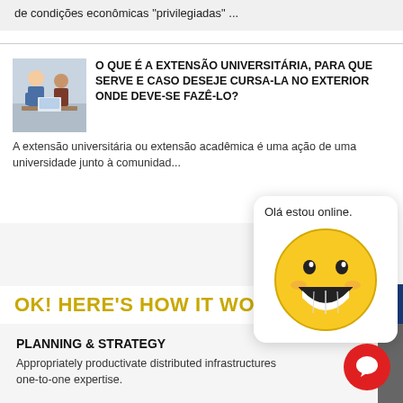de condições econômicas "privilegiadas" ...
[Figure (photo): Two people studying together at a desk]
O QUE É A EXTENSÃO UNIVERSITÁRIA, PARA QUE SERVE E CASO DESEJE CURSA-LA NO EXTERIOR ONDE DEVE-SE FAZÊ-LO?
A extensão universitária ou extensão acadêmica é uma ação de uma universidade junto à comunidad...
[Figure (illustration): Chat popup with smiling emoji face and text 'Olá estou online.']
OK! HERE'S HOW IT WORKS
PLANNING & STRATEGY
Appropriately productivate distributed infrastructures one-to-one expertise.
[Figure (illustration): Red circular chat button icon]